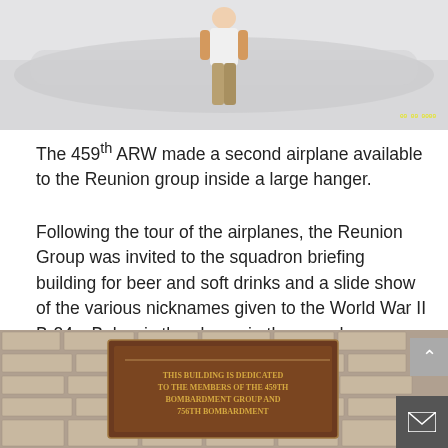[Figure (photo): Top portion of a person walking, wearing white shirt and khaki pants, in front of a large light-colored aircraft. Yellow timestamp visible in bottom right corner.]
The 459th ARW made a second airplane available to the Reunion group inside a large hanger.
Following the tour of the airplanes, the Reunion Group was invited to the squadron briefing building for beer and soft drinks and a slide show of the various nicknames given to the World War II B-24s. Below is the plaque in the squadron building dedicating the building to the 459th Bombardment Group.
[Figure (photo): Photo of a wooden plaque mounted on a brick wall. The plaque reads: THIS BUILDING IS DEDICATED TO THE MEMBERS OF THE 459TH BOMBARDMENT GROUP AND 756TH BOMBARDMENT [GROUP].]